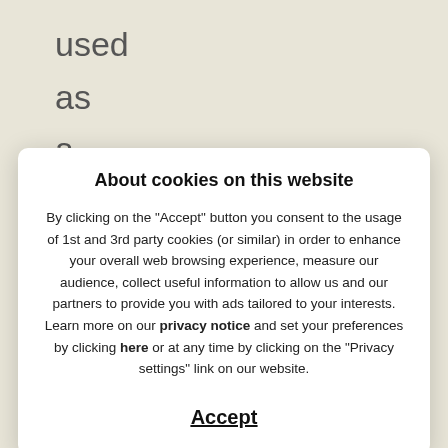used
as
a
medical
treatment.
An
About cookies on this website
By clicking on the "Accept" button you consent to the usage of 1st and 3rd party cookies (or similar) in order to enhance your overall web browsing experience, measure our audience, collect useful information to allow us and our partners to provide you with ads tailored to your interests. Learn more on our privacy notice and set your preferences by clicking here or at any time by clicking on the "Privacy settings" link on our website.
Accept